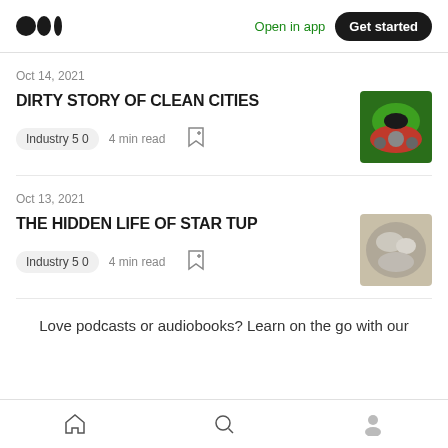Medium logo | Open in app | Get started
Oct 14, 2021
DIRTY STORY OF CLEAN CITIES
Industry 5 0   4 min read
[Figure (photo): Green and red robotic vacuum cleaner thumbnail]
Oct 13, 2021
THE HIDDEN LIFE OF STAR TUP
Industry 5 0   4 min read
[Figure (photo): Gray fluffy animal or rock texture thumbnail]
Love podcasts or audiobooks? Learn on the go with our
Home | Search | Profile